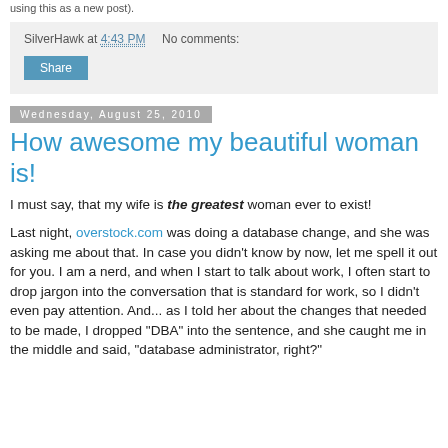using this as a new post).
SilverHawk at 4:43 PM   No comments:
Share
Wednesday, August 25, 2010
How awesome my beautiful woman is!
I must say, that my wife is the greatest woman ever to exist!
Last night, overstock.com was doing a database change, and she was asking me about that. In case you didn't know by now, let me spell it out for you. I am a nerd, and when I start to talk about work, I often start to drop jargon into the conversation that is standard for work, so I didn't even pay attention. And... as I told her about the changes that needed to be made, I dropped "DBA" into the sentence, and she caught me in the middle and said, "database administrator, right?"